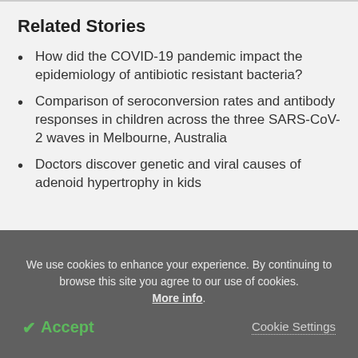Related Stories
How did the COVID-19 pandemic impact the epidemiology of antibiotic resistant bacteria?
Comparison of seroconversion rates and antibody responses in children across the three SARS-CoV-2 waves in Melbourne, Australia
Doctors discover genetic and viral causes of adenoid hypertrophy in kids
We use cookies to enhance your experience. By continuing to browse this site you agree to our use of cookies. More info.
✔ Accept
Cookie Settings